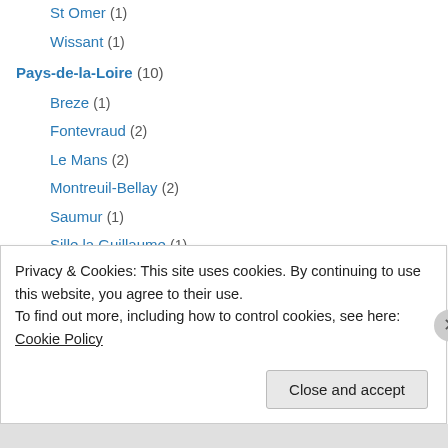St Omer (1)
Wissant (1)
Pays-de-la-Loire (10)
Breze (1)
Fontevraud (2)
Le Mans (2)
Montreuil-Bellay (2)
Saumur (1)
Sille la Guillaume (1)
Sully-sur-Loire (1)
Picardie (1)
Les Galets de la Mollière (1)
Poitou Charentes (1)
Ile D'Oleron (1)
Privacy & Cookies: This site uses cookies. By continuing to use this website, you agree to their use. To find out more, including how to control cookies, see here: Cookie Policy
Close and accept